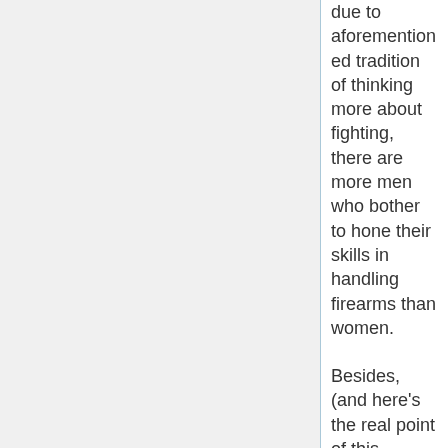due to aforementioned tradition of thinking more about fighting, there are more men who bother to hone their skills in handling firearms than women.
Besides, (and here's the real point of this passage!) gaming is an interactive, artful medium, not one that necessarily reflects the real